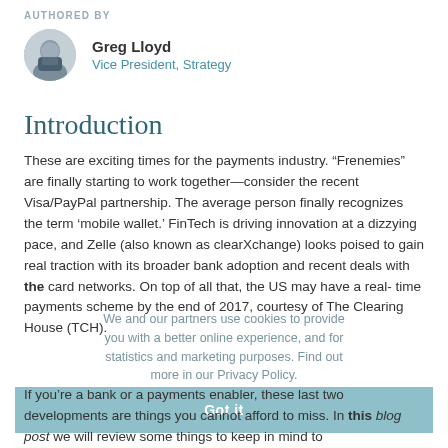AUTHORED BY
Greg Lloyd
Vice President, Strategy
Introduction
These are exciting times for the payments industry. “Frenemies” are finally starting to work together—consider the recent Visa/PayPal partnership. The average person finally recognizes the term ‘mobile wallet.’ FinTech is driving innovation at a dizzying pace, and Zelle (also known as clearXchange) looks poised to gain real traction with its broader bank adoption and recent deals with the card networks. On top of all that, the US may have a real-time payments scheme by the end of 2017, courtesy of The Clearing House (TCH).
If you’re a bank or a payments enabler, these last two developments are things you cannot afford to miss. In this blog post we will review some things to keep in mind to